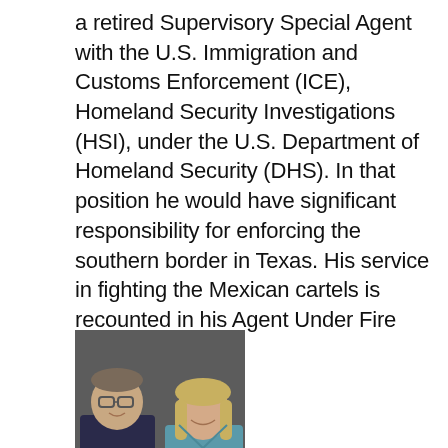a retired Supervisory Special Agent with the U.S. Immigration and Customs Enforcement (ICE), Homeland Security Investigations (HSI), under the U.S. Department of Homeland Security (DHS). In that position he would have significant responsibility for enforcing the southern border in Texas. His service in fighting the Mexican cartels is recounted in his Agent Under Fire book.
[Figure (photo): A man and a woman posing together for a professional photo against a dark gray background. The man is on the left wearing a dark shirt, the woman is on the right wearing a teal/blue top.]